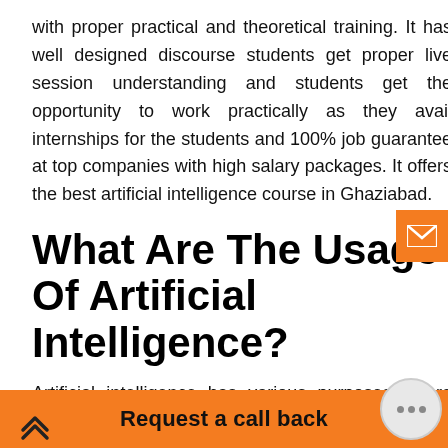with proper practical and theoretical training. It has well designed discourse students get proper live session understanding and students get the opportunity to work practically as they avail internships for the students and 100% job guarantee at top companies with high salary packages. It offers the best artificial intelligence course in Ghaziabad.
What Are The Usage Of Artificial Intelligence?
Artificial intelligence has various purposes where they aid human capabilities with advanced decisions and help in various platforms and make working easier. It makes the use of human lives and manages the complex web for interconnected individuals, companies, states, and nations
Request a call back